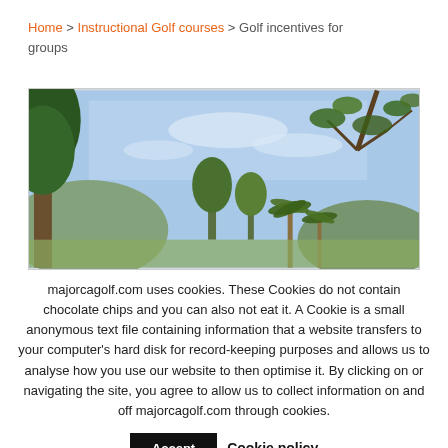Home > Instructional Golf courses > Golf incentives for groups
[Figure (photo): Outdoor golf course photo showing trees, palm trees, and blue sky viewed from below]
majorcagolf.com uses cookies. These Cookies do not contain chocolate chips and you can also not eat it. A Cookie is a small anonymous text file containing information that a website transfers to your computer’s hard disk for record-keeping purposes and allows us to analyse how you use our website to then optimise it. By clicking on or navigating the site, you agree to allow us to collect information on and off majorcagolf.com through cookies.
Accept  Cookie policy